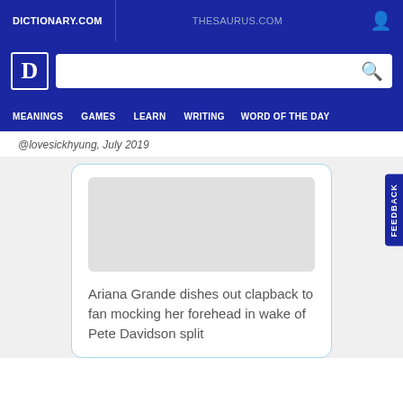DICTIONARY.COM | THESAURUS.COM
[Figure (screenshot): Dictionary.com logo and search bar with navigation menu including MEANINGS, GAMES, LEARN, WRITING, WORD OF THE DAY]
@lovesickhyung, July 2019
Ariana Grande dishes out clapback to fan mocking her forehead in wake of Pete Davidson split